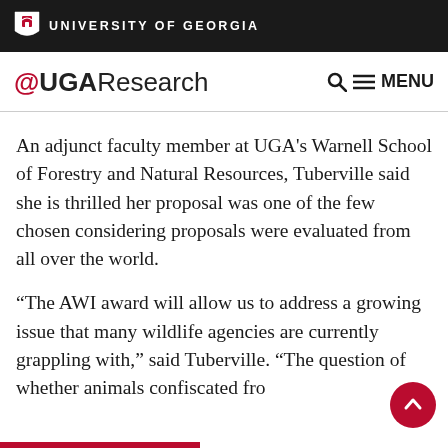UNIVERSITY OF GEORGIA
@UGAResearch  🔍 ☰ MENU
An adjunct faculty member at UGA's Warnell School of Forestry and Natural Resources, Tuberville said she is thrilled her proposal was one of the few chosen considering proposals were evaluated from all over the world.
“The AWI award will allow us to address a growing issue that many wildlife agencies are currently grappling with,” said Tuberville. “The question of whether animals confiscated from the illegal wildlife